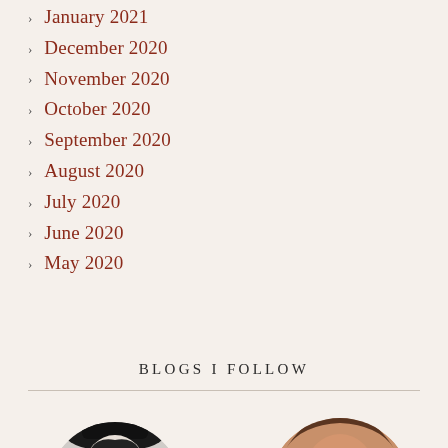January 2021
December 2020
November 2020
October 2020
September 2020
August 2020
July 2020
June 2020
May 2020
BLOGS I FOLLOW
[Figure (photo): Two circular avatar images of bloggers at the bottom of the page]